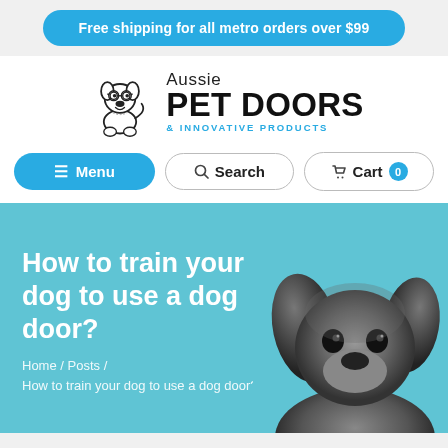Free shipping for all metro orders over $99
[Figure (logo): Aussie Pet Doors & Innovative Products logo with cartoon dog illustration]
Menu   Search   Cart 0
How to train your dog to use a dog door?
Home / Posts / How to train your dog to use a dog door?
[Figure (photo): Black Labrador puppy portrait, grayscale, positioned on the right side of the teal hero banner]